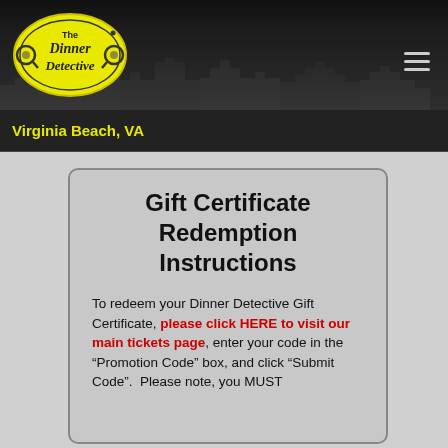[Figure (logo): The Dinner Detective logo — yellow oval with magnifying glass motifs and stylized text]
Virginia Beach, VA
Gift Certificate Redemption Instructions
To redeem your Dinner Detective Gift Certificate, please click HERE to visit our main tickets page, enter your code in the "Promotion Code" box, and click "Submit Code".  Please note, you MUST